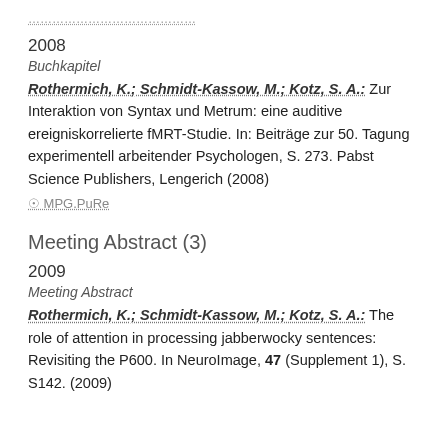…………………………………
2008
Buchkapitel
Rothermich, K.; Schmidt-Kassow, M.; Kotz, S. A.: Zur Interaktion von Syntax und Metrum: eine auditive ereigniskorrelierte fMRT-Studie. In: Beiträge zur 50. Tagung experimentell arbeitender Psychologen, S. 273. Pabst Science Publishers, Lengerich (2008)
⊘ MPG.PuRe
Meeting Abstract (3)
2009
Meeting Abstract
Rothermich, K.; Schmidt-Kassow, M.; Kotz, S. A.: The role of attention in processing jabberwocky sentences: Revisiting the P600. In NeuroImage, 47 (Supplement 1), S. S142. (2009)